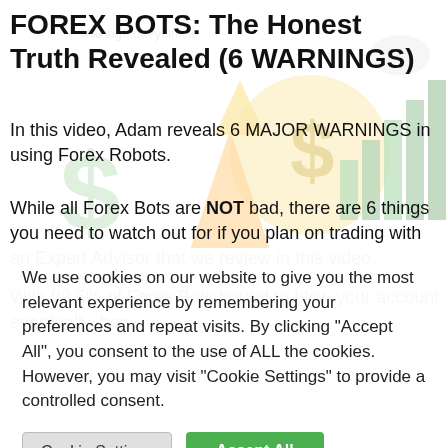FOREX BOTS: The Honest Truth Revealed (6 WARNINGS)
In this video, Adam reveals 6 MAJOR WARNINGS in using Forex Robots.
While all Forex Bots are NOT bad, there are 6 things you need to watch out for if you plan on trading with an Expert Advisor that we review in this video.
With 99.5% of Forex Bots bound to blow your account eventually, how
We use cookies on our website to give you the most relevant experience by remembering your preferences and repeat visits. By clicking "Accept All", you consent to the use of ALL the cookies. However, you may visit "Cookie Settings" to provide a controlled consent.